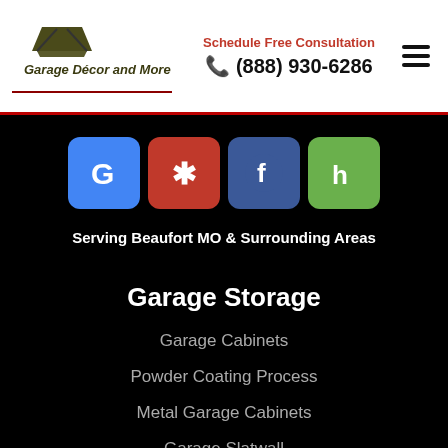[Figure (logo): Garage Décor and More logo with house/roof icon and red underline]
Schedule Free Consultation
☎ (888) 930-6286
[Figure (infographic): Four social media icons: Google (blue), Yelp (red), Facebook (blue), Houzz (green)]
Serving Beaufort MO & Surrounding Areas
Garage Storage
Garage Cabinets
Powder Coating Process
Metal Garage Cabinets
Garage Slatwall
Overhead Garage Storage